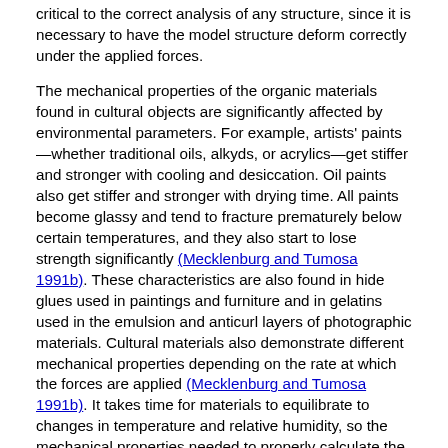critical to the correct analysis of any structure, since it is necessary to have the model structure deform correctly under the applied forces.
The mechanical properties of the organic materials found in cultural objects are significantly affected by environmental parameters. For example, artists' paints—whether traditional oils, alkyds, or acrylics—get stiffer and stronger with cooling and desiccation. Oil paints also get stiffer and stronger with drying time. All paints become glassy and tend to fracture prematurely below certain temperatures, and they also start to lose strength significantly (Mecklenburg and Tumosa 1991b). These characteristics are also found in hide glues used in paintings and furniture and in gelatins used in the emulsion and anticurl layers of photographic materials. Cultural materials also demonstrate different mechanical properties depending on the rate at which the forces are applied (Mecklenburg and Tumosa 1991b). It takes time for materials to equilibrate to changes in temperature and relative humidity, so the mechanical properties needed to properly calculate the effects of temperature and humidity are those that reflect the long-term equilibrium conditions. Whereas an analysis of a structure subjected to external forces such as those encountered in shock or vibration can employ constant material properties if in a constant environment, the analyses of temperature and humidity changes must account for the transient